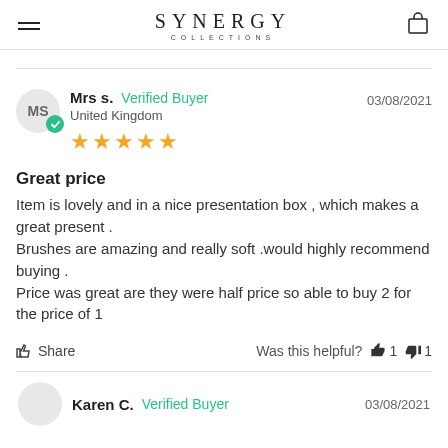SYNERGY COLLECTIONS
Mrs s.  Verified Buyer  United Kingdom  03/08/2021  ★★★★★
Great price
Item is lovely and in a nice presentation box , which makes a great present .
Brushes are amazing and really soft .would highly recommend buying .
Price was great are they were half price so able to buy 2 for the price of 1
Share  Was this helpful?  👍 1  👎 1
Karen C.  Verified Buyer  03/08/2021